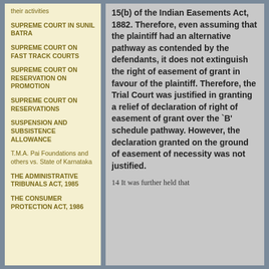their activities
SUPREME COURT IN SUNIL BATRA
SUPREME COURT ON FAST TRACK COURTS
SUPREME COURT ON RESERVATION ON PROMOTION
SUPREME COURT ON RESERVATIONS
SUSPENSION AND SUBSISTENCE ALLOWANCE
T.M.A. Pai Foundations and others vs. State of Karnataka
THE ADMINISTRATIVE TRIBUNALS ACT, 1985
THE CONSUMER PROTECTION ACT, 1986
15(b) of the Indian Easements Act, 1882. Therefore, even assuming that the plaintiff had an alternative pathway as contended by the defendants, it does not extinguish the right of easement of grant in favour of the plaintiff. Therefore, the Trial Court was justified in granting a relief of declaration of right of easement of grant over the `B' schedule pathway. However, the declaration granted on the ground of easement of necessity was not justified.
14 It was further held that